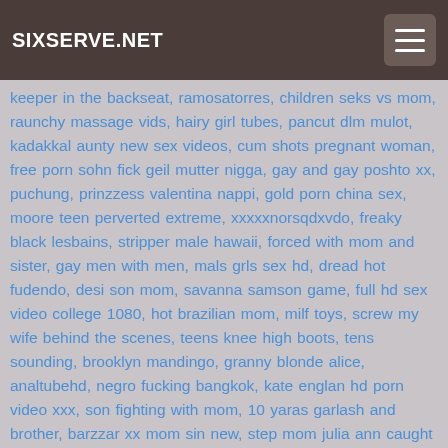SIXSERVE.NET
keeper in the backseat, ramosatorres, children seks vs mom, raunchy massage vids, hairy girl tubes, pancut dlm mulot, kadakkal aunty new sex videos, cum shots pregnant woman, free porn sohn fick geil mutter nigga, gay and gay poshto xx, puchung, prinzzess valentina nappi, gold porn china sex, moore teen perverted extreme, xxxxxnorsqdxvdo, freaky black lesbains, stripper male hawaii, forced with mom and sister, gay men with men, mals grls sex hd, dread hot fudendo, desi son mom, savanna samson game, full hd sex video college 1080, hot brazilian mom, milf toys, screw my wife behind the scenes, teens knee high boots, tens sounding, brooklyn mandingo, granny blonde alice, analtubehd, negro fucking bangkok, kate englan hd porn video xxx, son fighting with mom, 10 yaras garlash and brother, barzzar xx mom sin new, step mom julia ann caught sniffing, comedo a vizinha, xxxx fuck